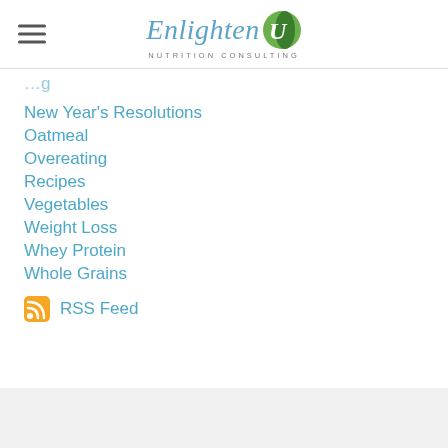EnlightenU Nutrition Consulting
New Year's Resolutions
Oatmeal
Overeating
Recipes
Vegetables
Weight Loss
Whey Protein
Whole Grains
RSS Feed